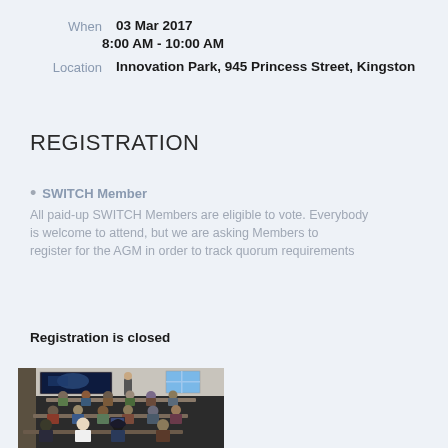When   03 Mar 2017
         8:00 AM - 10:00 AM
Location   Innovation Park, 945 Princess Street, Kingston
REGISTRATION
SWITCH Member
All paid-up SWITCH Members are eligible to vote. Everybody is welcome to attend, but we are asking Members to register for the AGM in order to track quorum requirements
Registration is closed
[Figure (photo): Photo of a meeting room with audience seated at tables, presenter at front with a projected screen showing an image, window with blue daylight in background]